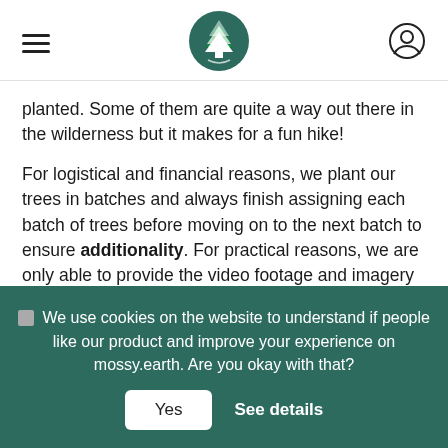[hamburger menu] [mossy.earth logo] [user icon]
planted. Some of them are quite a way out there in the wilderness but it makes for a fun hike!

For logistical and financial reasons, we plant our trees in batches and always finish assigning each batch of trees before moving on to the next batch to ensure additionality. For practical reasons, we are only able to provide the video footage and imagery of one planting area – the area where the majority of trees are being assigned – in a single month.
🍪 We use cookies on the website to understand if people like our product and improve your experience on mossy.earth. Are you okay with that?
Yes   See details